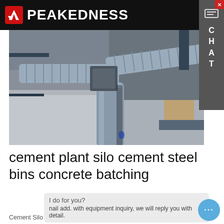PEAKEDNESS
[Figure (photo): Aerial/overhead view of industrial cement plant equipment showing large metallic flexible ducts and pipes connected in a T-junction configuration, with concrete surfaces visible in background]
cement plant silo cement steel bins concrete batching
Cement Silo for Concrete Batching Plant. In general 50 ton...
I do for you?
nail add. with equipment inquiry, we will reply you with detail.